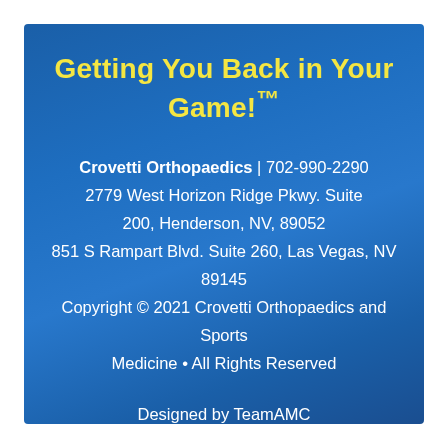Getting You Back in Your Game!™
Crovetti Orthopaedics | 702-990-2290
2779 West Horizon Ridge Pkwy. Suite 200, Henderson, NV, 89052
851 S Rampart Blvd. Suite 260, Las Vegas, NV 89145
Copyright © 2021 Crovetti Orthopaedics and Sports Medicine • All Rights Reserved
Designed by TeamAMC